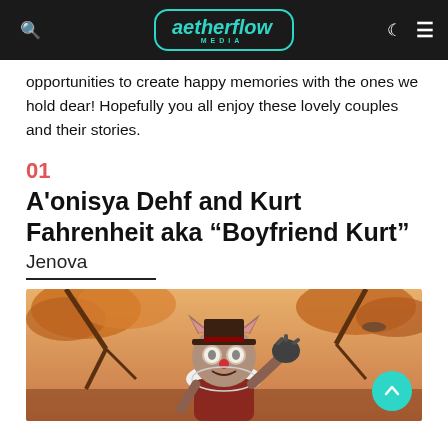aetherflow MEDIA
opportunities to create happy memories with the ones we hold dear! Hopefully you all enjoy these lovely couples and their stories.
01
A'onisya Dehf and Kurt Fahrenheit aka “Boyfriend Kurt”
Jenova
[Figure (photo): Photo of a cat character dressed as a clown with autumn leaves in the background, raising one hand/paw]